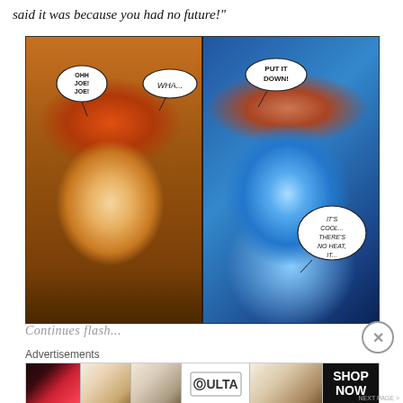said it was because you had no future!"
[Figure (illustration): Two comic book panels side by side. Left panel: a woman with orange/red hair and wide eyes holds a dark glowing orb, with speech bubbles reading 'OHH JOE! JOE!' and 'WHA...' A male figure with light hair is visible in the background. Right panel: The same woman transformed with blue icy energy swirling around her face, speech bubbles read 'PUT IT DOWN!' and 'IT'S COOL... THERE'S NO HEAT, IT...']
Continues flash...
Advertisements
[Figure (photo): Ulta Beauty advertisement banner showing close-up images of lips with red lipstick, makeup brushes, eye makeup, the Ulta logo, a woman's eyes with dramatic makeup, and a 'SHOP NOW' call to action on black background.]